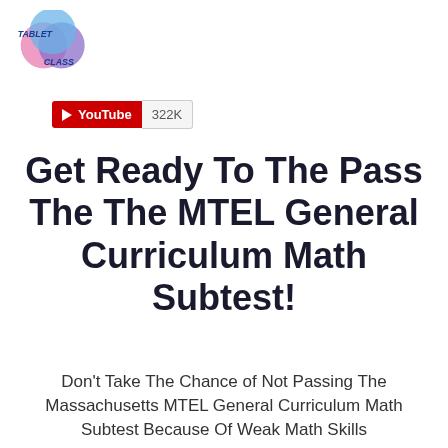[Figure (logo): TabletClass logo: overlapping colored circles (pink, blue, purple) with text TABLET CLASS in blue bold italic font]
[Figure (screenshot): YouTube subscribe button widget showing red YouTube button with play icon and subscriber count 322K]
Get Ready To The Pass The The MTEL General Curriculum Math Subtest!
Don't Take The Chance of Not Passing The Massachusetts MTEL General Curriculum Math Subtest Because Of Weak Math Skills